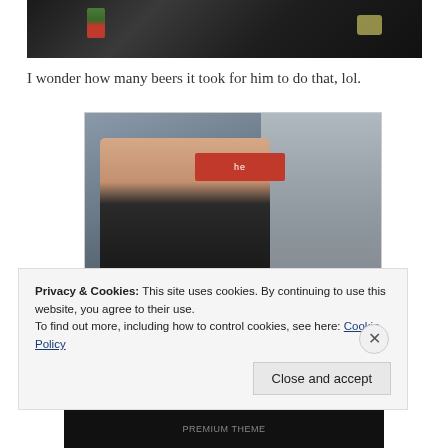[Figure (photo): Partial photo at top of page showing a dark background with a person or object, a green/red ribbon-like decoration and a yellowish object visible]
I wonder how many beers it took for him to do that, lol.
[Figure (photo): Photo of a heavyset man wearing glasses, a dark vest over a white t-shirt, standing with his back partially turned, in front of glass doors or windows with signage visible]
Privacy & Cookies: This site uses cookies. By continuing to use this website, you agree to their use.
To find out more, including how to control cookies, see here: Cookie Policy
Close and accept